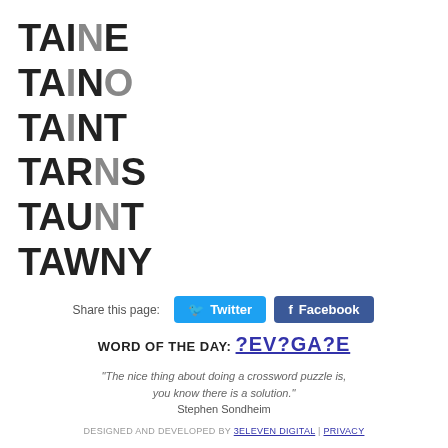TAINE
TAINO
TAINT
TARNS
TAUNT
TAWNY
Share this page: Twitter Facebook
WORD OF THE DAY: ?EV?GA?E
“The nice thing about doing a crossword puzzle is, you know there is a solution.” Stephen Sondheim
DESIGNED AND DEVELOPED BY 3ELEVEN DIGITAL | PRIVACY